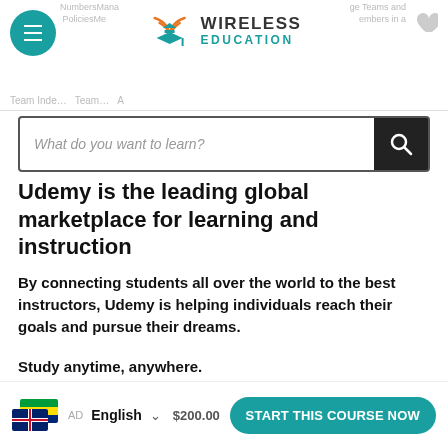Wireless Education — site header with logo, hamburger menu, and search bar
Udemy is the leading global marketplace for learning and instruction
By connecting students all over the world to the best instructors, Udemy is helping individuals reach their goals and pursue their dreams.
Study anytime, anywhere.
START HERE
START THIS COURSE NOW — English language selector